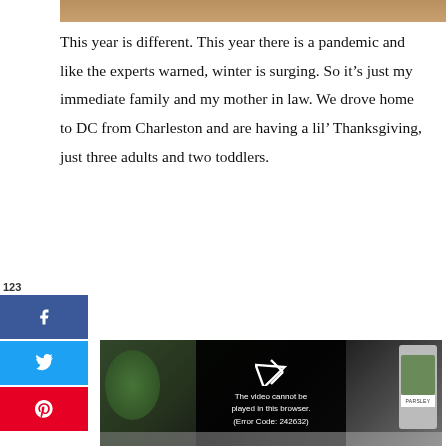[Figure (photo): Partial top edge of a photo, brownish tan color strip at the top of the page]
This year is different. This year there is a pandemic and like the experts warned, winter is surging. So it's just my immediate family and my mother in law. We drove home to DC from Charleston and are having a lil' Thanksgiving, just three adults and two toddlers.
123
SHARES
[Figure (screenshot): Social share sidebar with Facebook (f), Twitter (bird), and Pinterest (p) buttons in blue, light blue, and red respectively]
[Figure (screenshot): Video player showing a kitchen scene with herbs and jars; an error overlay reads 'The video cannot be played in this browser. (Error Code: 242632)']